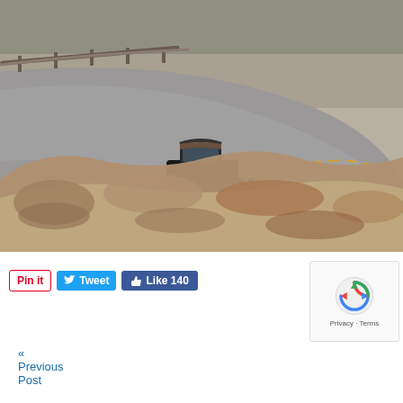[Figure (photo): A vintage black hot rod / antique car driving on a winding desert road, photographed from behind a blurred rocky foreground. The road curves through arid landscape with sparse vegetation and wooden fencing along the roadside.]
[Figure (other): Social sharing buttons: Pinterest Pin it button (red border), Twitter Tweet button (blue), Facebook Like 140 button (dark blue)]
[Figure (other): Google reCAPTCHA widget showing the reCAPTCHA logo and Privacy - Terms text]
« Previous Post